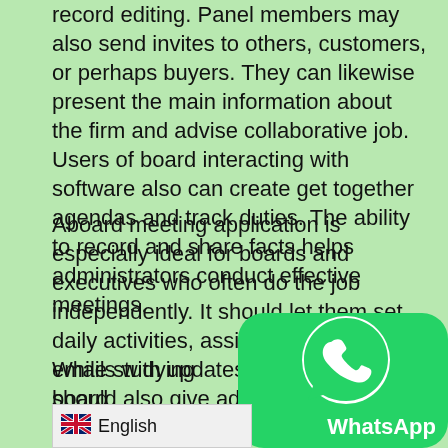record editing. Panel members may also send invites to others, customers, or perhaps buyers. They can likewise present the main information about the firm and advise collaborative job. Users of board interacting with software also can create get together agendas and track duties. The ability to record and share facts helps administrators conduct effective meetings.
Aboard meeting application is especially ideal for boards and executives who often do the job independently. It should let them set daily activities, assign jobs, and send emails with updates. The solution should also give admins and secretaries the ability to set up meeting agendas. Board getting together with software should give aboard members and stakeholders notifications and follow up on task items. It should also allow them keep track of the progress of a meeting and be sure all attendees are on activity.
While studying board collaboration software, it is es… research the reputation of the brands before buyin… that works for the nonprofit corporation antivirus… often more likely to trust a softwar…
[Figure (logo): WhatsApp app icon — green rounded square with white phone handset in speech bubble, and WhatsApp label below]
[Figure (infographic): Language selector bar showing UK flag and 'English' text label]